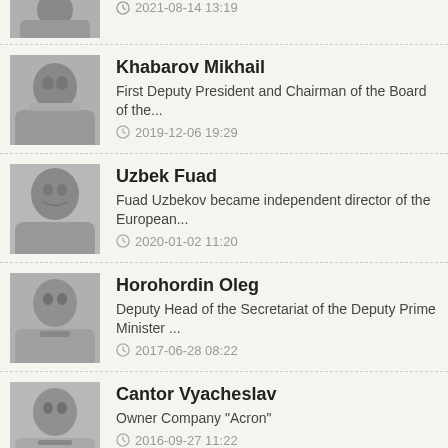[Figure (photo): Partial photo at top of page, black and white, person cropped]
2021-08-14 13:19
[Figure (photo): Black and white photo of Khabarov Mikhail]
Khabarov Mikhail
First Deputy President and Chairman of the Board of the...
2019-12-06 19:29
[Figure (photo): Black and white photo of Uzbek Fuad]
Uzbek Fuad
Fuad Uzbekov became independent director of the European...
2020-01-02 11:20
[Figure (photo): Black and white photo of Horohordin Oleg]
Horohordin Oleg
Deputy Head of the Secretariat of the Deputy Prime Minister ...
2017-06-28 08:22
[Figure (photo): Black and white photo of Cantor Vyacheslav]
Cantor Vyacheslav
Owner Company "Acron"
2016-09-27 11:22